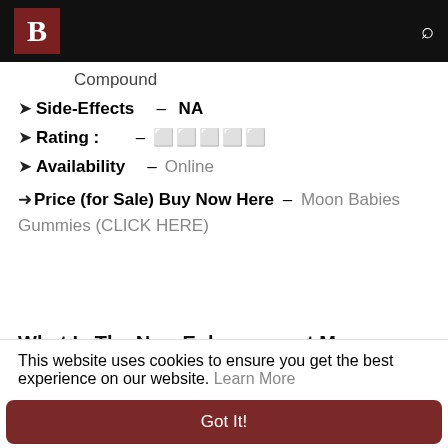B [logo] [search icon]
Compound
> Side-Effects – NA
> Rating : – ⭐⭐⭐⭐⭐
> Availability – Online
>Price (for Sale) Buy Now Here – Moon Babies Gummies (CLICK HERE)
What Is The New Enhancement Moon Babies Gummies?
Moon Babies Gummies Best CBD based health
This website uses cookies to ensure you get the best experience on our website. Learn More
Got It!